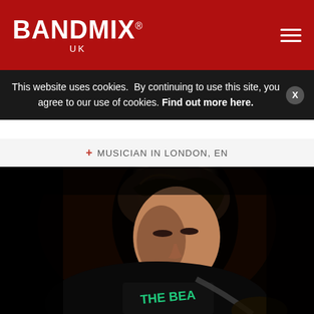BANDMIX® UK
This website uses cookies.  By continuing to use this site, you agree to our use of cookies. Find out more here.
+ MUSICIAN IN LONDON, EN
[Figure (photo): A male musician photographed in a dark setting, looking downward, wearing a dark t-shirt with 'THE BEAT' printed on it. He appears to be playing guitar. The image is moody and low-key lit.]